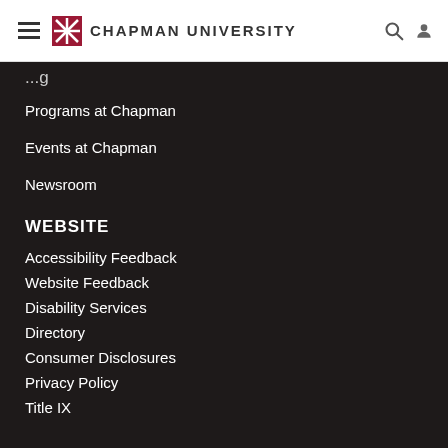Chapman University
Programs at Chapman
Events at Chapman
Newsroom
WEBSITE
Accessibility Feedback
Website Feedback
Disability Services
Directory
Consumer Disclosures
Privacy Policy
Title IX